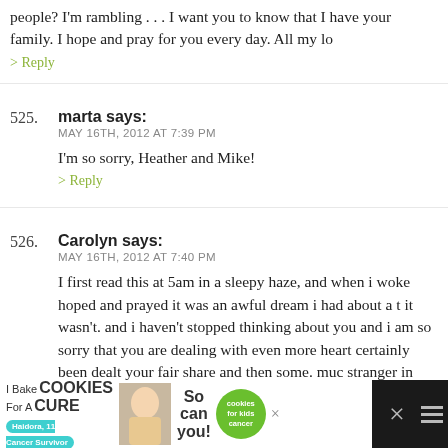people? I'm rambling . . . I want you to know that I have your family. I hope and pray for you every day. All my lo
> Reply
525. marta says: MAY 16TH, 2012 AT 7:39 PM
I'm so sorry, Heather and Mike!
> Reply
526. Carolyn says: MAY 16TH, 2012 AT 7:40 PM
I first read this at 5am in a sleepy haze, and when i woke hoped and prayed it was an awful dream i had about a t it wasn't. and i haven't stopped thinking about you and i am so sorry that you are dealing with even more heart certainly been dealt your fair share and then some. muc stranger in chicago xoxoxoxo
[Figure (infographic): Advertisement banner: I Bake COOKIES For A CURE with child photo, 'So can you!' text, cookies for kids cancer green circle logo, and close/menu buttons on dark background]